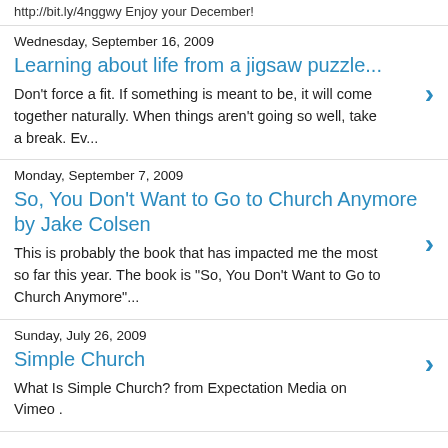http://bit.ly/4nggwy Enjoy your December!
Wednesday, September 16, 2009
Learning about life from a jigsaw puzzle...
Don't force a fit. If something is meant to be, it will come together naturally. When things aren't going so well, take a break. Ev...
Monday, September 7, 2009
So, You Don't Want to Go to Church Anymore by Jake Colsen
This is probably the book that has impacted me the most so far this year. The book is "So, You Don't Want to Go to Church Anymore"...
Sunday, July 26, 2009
Simple Church
What Is Simple Church? from Expectation Media on Vimeo .